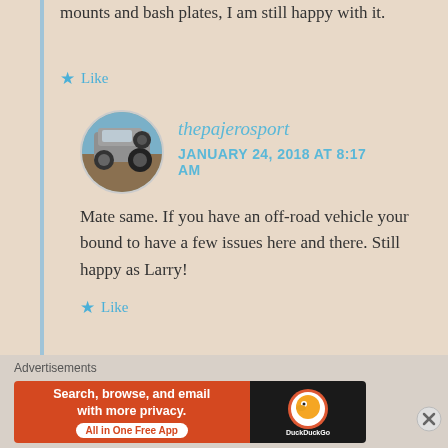mounts and bash plates, I am still happy with it.
★ Like
thepajerosport
JANUARY 24, 2018 AT 8:17 AM
[Figure (photo): Circular avatar showing a 4WD vehicle (Pajero Sport) from the rear at an angle on rough terrain, outdoors with blue sky]
Mate same. If you have an off-road vehicle your bound to have a few issues here and there. Still happy as Larry!
★ Like
Advertisements
[Figure (screenshot): DuckDuckGo advertisement banner: orange left side reading 'Search, browse, and email with more privacy. All in One Free App', black right side with DuckDuckGo logo]